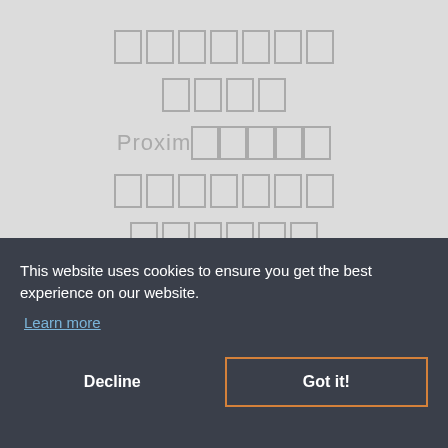[Figure (screenshot): Website background with redacted/placeholder text lines showing blocked characters, including a line starting with 'Proxim' followed by redacted characters]
This website uses cookies to ensure you get the best experience on our website.
Learn more
Decline
Got it!